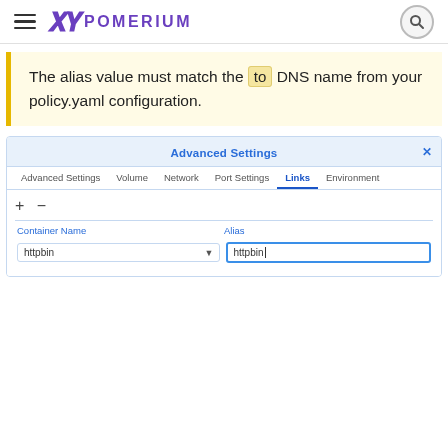POMERIUM
The alias value must match the `to` DNS name from your policy.yaml configuration.
[Figure (screenshot): Advanced Settings dialog box showing tabs: Advanced Settings, Volume, Network, Port Settings, Links (active/selected), Environment. The Links tab is selected and shows a table with columns Container Name and Alias. A row shows 'httpbin' in the Container Name dropdown and 'httpbin' typed in the Alias input field. There are + and - buttons above the table.]